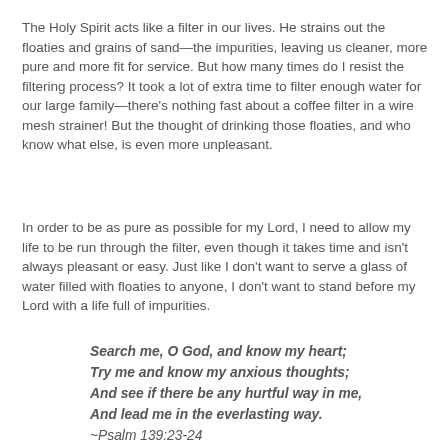The Holy Spirit acts like a filter in our lives. He strains out the floaties and grains of sand—the impurities, leaving us cleaner, more pure and more fit for service. But how many times do I resist the filtering process? It took a lot of extra time to filter enough water for our large family—there's nothing fast about a coffee filter in a wire mesh strainer! But the thought of drinking those floaties, and who know what else, is even more unpleasant.
In order to be as pure as possible for my Lord, I need to allow my life to be run through the filter, even though it takes time and isn't always pleasant or easy. Just like I don't want to serve a glass of water filled with floaties to anyone, I don't want to stand before my Lord with a life full of impurities.
Search me, O God, and know my heart;
Try me and know my anxious thoughts;
And see if there be any hurtful way in me,
And lead me in the everlasting way.
~Psalm 139:23-24